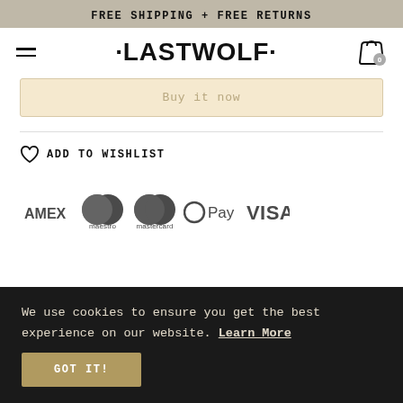FREE SHIPPING + FREE RETURNS
·LASTWOLF·
Buy it now
ADD TO WISHLIST
[Figure (logo): Payment method logos: AMEX, Maestro, Mastercard, OPay, VISA]
We use cookies to ensure you get the best experience on our website. Learn More
GOT IT!